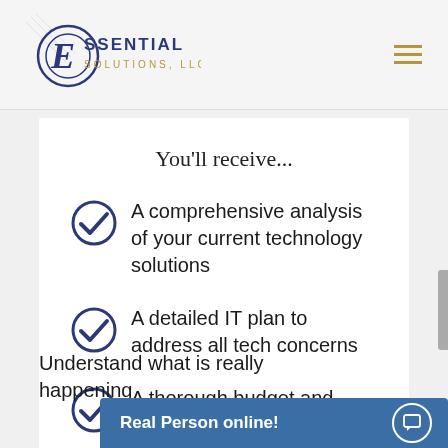Essential Solutions LLC — navigation header
You'll receive...
A comprehensive analysis of your current technology solutions
A detailed IT plan to address all tech concerns
A thorough budget and project plan
Understand what is really happening...